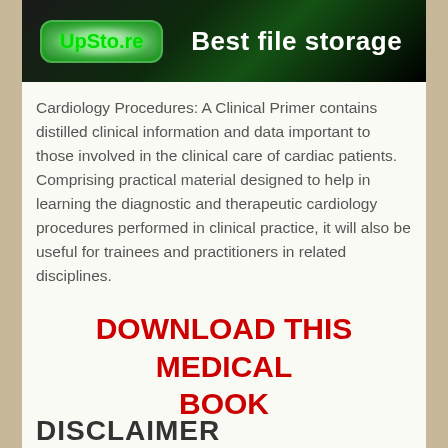[Figure (screenshot): UpSto.re banner advertisement with green logo on dark background and text 'Best file storage']
Cardiology Procedures: A Clinical Primer contains distilled clinical information and data important to those involved in the clinical care of cardiac patients. Comprising practical material designed to help in learning the diagnostic and therapeutic cardiology procedures performed in clinical practice, it will also be useful for trainees and practitioners in related disciplines.
DOWNLOAD THIS MEDICAL BOOK
DISCLAIMER